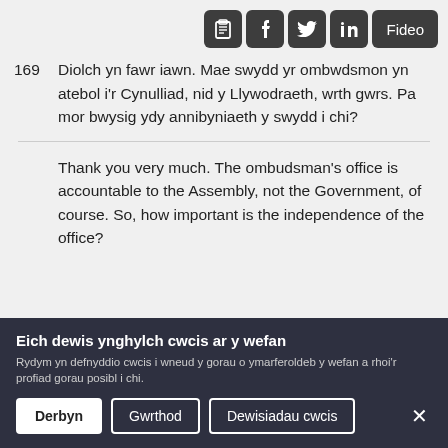[Figure (other): Toolbar with icons: clipboard, Facebook, Twitter, LinkedIn, and a Fideo (Video) button]
169  Diolch yn fawr iawn. Mae swydd yr ombwdsmon yn atebol i'r Cynulliad, nid y Llywodraeth, wrth gwrs. Pa mor bwysig ydy annibyniaeth y swydd i chi?
Thank you very much. The ombudsman's office is accountable to the Assembly, not the Government, of course. So, how important is the independence of the office?
Eich dewis ynghylch cwcis ar y wefan
Rydym yn defnyddio cwcis i wneud y gorau o ymarferoldeb y wefan a rhoi'r profiad gorau posibl i chi.
Derbyn
Gwrthod
Dewisiadau cwcis